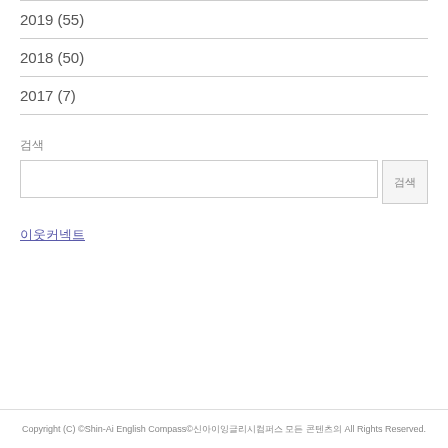2019 (55)
2018 (50)
2017 (7)
검색
검색 버튼
이웃커넥트
Copyright (C) ©Shin-Ai English Compass©신아이잉글리시컴퍼스 모든 콘텐츠의 All Rights Reserved.